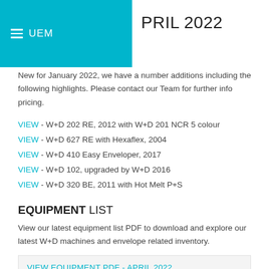UEM APRIL 2022
New for January 2022, we have a number additions including the following highlights. Please contact our Team for further info pricing.
VIEW - W+D 202 RE, 2012 with W+D 201 NCR 5 colour
VIEW - W+D 627 RE with Hexaflex, 2004
VIEW - W+D 410 Easy Enveloper, 2017
VIEW - W+D 102, upgraded by W+D 2016
VIEW - W+D 320 BE, 2011 with Hot Melt P+S
EQUIPMENT LIST
View our latest equipment list PDF to download and explore our latest W+D machines and envelope related inventory.
VIEW EQUIPMENT PDF - APRIL 2022
We are constantly searching for envelope converting and all